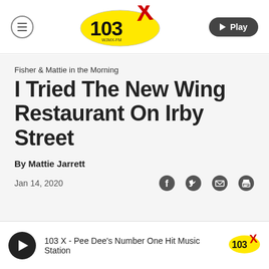[Figure (logo): 103X WJMX-FM radio station logo — yellow oval with bold black '103' and red 'X', small text 'WJMX-FM']
▶ Play
Fisher & Mattie in the Morning
I Tried The New Wing Restaurant On Irby Street
By Mattie Jarrett
Jan 14, 2020
[Figure (logo): Social share icons: Facebook, Twitter, Email, Print]
103 X - Pee Dee's Number One Hit Music Station
[Figure (logo): 103X small logo in player bar]